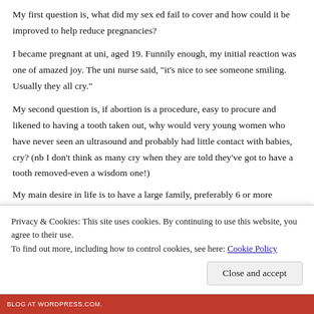My first question is, what did my sex ed fail to cover and how could it be improved to help reduce pregnancies?
I became pregnant at uni, aged 19. Funnily enough, my initial reaction was one of amazed joy. The uni nurse said, "it's nice to see someone smiling. Usually they all cry."
My second question is, if abortion is a procedure, easy to procure and likened to having a tooth taken out, why would very young women who have never seen an ultrasound and probably had little contact with babies, cry? (nb I don't think as many cry when they are told they've got to have a tooth removed-even a wisdom one!)
My main desire in life is to have a large family, preferably 6 or more children, and stay at home to raise them while my husband earns th…
Privacy & Cookies: This site uses cookies. By continuing to use this website, you agree to their use.
To find out more, including how to control cookies, see here: Cookie Policy
Close and accept